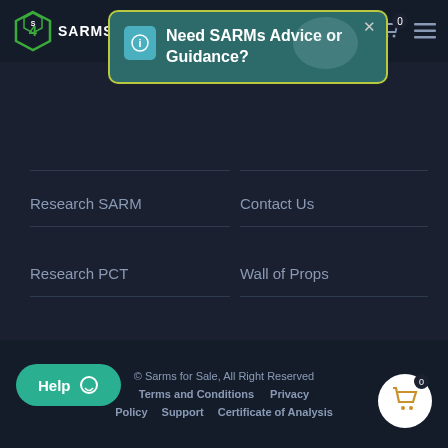SARMS 4 SA [header bar with logo, cart icon, menu icon]
Need SARMs Advice or Guidance?
Research SARM
Contact Us
Research PCT
Wall of Props
© Sarms for Sale, All Right Reserved   Terms and Conditions   Privacy Policy   Support   Certificate of Analysis
Help
0